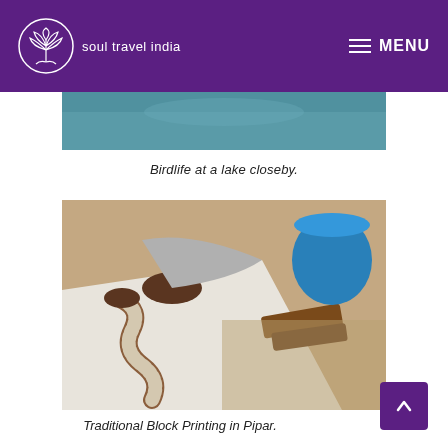soul travel india — MENU
[Figure (photo): Partial cropped photo of birdlife at a lake, showing teal/blue water tones]
Birdlife at a lake closeby.
[Figure (photo): A craftsperson doing traditional block printing on white fabric in Pipar, with wooden printing blocks visible alongside a blue ceramic pot]
Traditional Block Printing in Pipar.